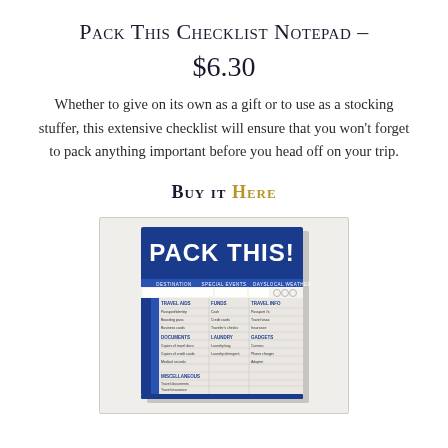Pack This Checklist Notepad – $6.30
Whether to give on its own as a gift or to use as a stocking stuffer, this extensive checklist will ensure that you won't forget to pack anything important before you head off on your trip.
Buy it HERE
[Figure (photo): Product photo of the 'Pack This!' checklist notepad with a blue cover and detailed packing checklist grid including sections for Basics, Miscellaneous, Travel Info, Funds, Documents, Laundry, and more.]